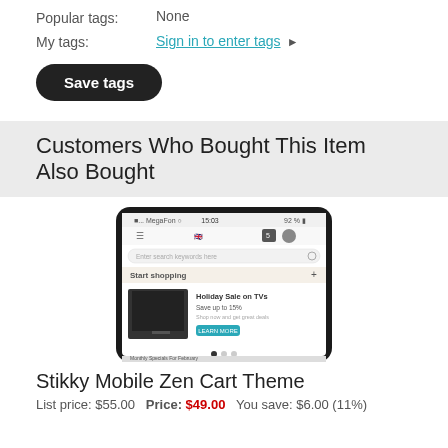Popular tags: None
My tags: Sign in to enter tags ▶
Save tags
Customers Who Bought This Item Also Bought
[Figure (screenshot): Screenshot of a mobile e-commerce app on a smartphone showing 'Start shopping' section and a holiday sale on TVs banner]
Stikky Mobile Zen Cart Theme
List price: $55.00  Price: $49.00  You save: $6.00 (11%)